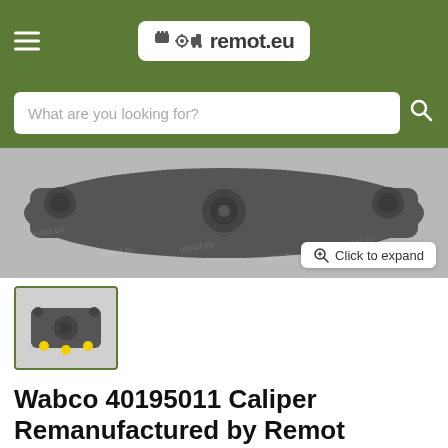remot.eu
[Figure (screenshot): Website screenshot of remot.eu product page for Wabco 40195011 Caliper Remanufactured by Remot, showing product image of a brake caliper with watermark]
[Figure (photo): Thumbnail photo of brake caliper product with yellow dots]
Wabco 40195011 Caliper Remanufactured by Remot
Ask for the best price!